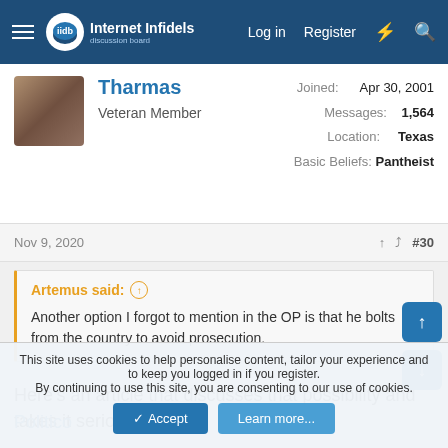Internet Infidels — Log in | Register
Tharmas — Veteran Member — Joined: Apr 30, 2001 — Messages: 1,564 — Location: Texas — Basic Beliefs: Pantheist
Nov 9, 2020  #30
Artemus said: ↑
Another option I forgot to mention in the OP is that he bolts from the country to avoid prosecution.
Here's an article that discusses that possibility and takes it seriously:
Politico
This site uses cookies to help personalise content, tailor your experience and to keep you logged in if you register.
By continuing to use this site, you are consenting to our use of cookies.